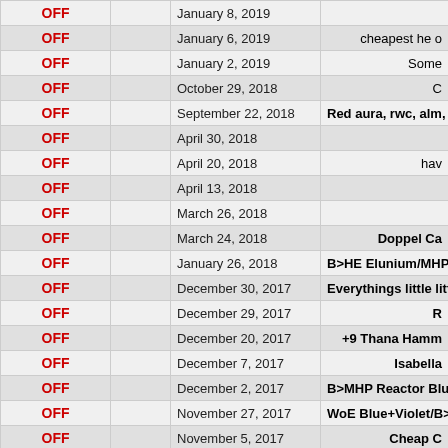|  |  | Date | Message |
| --- | --- | --- | --- |
| OFF |  | January 8, 2019 |  |
| OFF |  | January 6, 2019 | cheapest he o |
| OFF |  | January 2, 2019 | Some |
| OFF |  | October 29, 2018 | C |
| OFF |  | September 22, 2018 | Red aura, rwc, alm, BB |
| OFF |  | April 30, 2018 |  |
| OFF |  | April 20, 2018 | hav |
| OFF |  | April 13, 2018 |  |
| OFF |  | March 26, 2018 |  |
| OFF |  | March 24, 2018 | Doppel Ca |
| OFF |  | January 26, 2018 | B>HE Elunium/MHP Reactor R |
| OFF |  | December 30, 2017 | Everythings little little |
| OFF |  | December 29, 2017 | R |
| OFF |  | December 20, 2017 | +9 Thana Hamm |
| OFF |  | December 7, 2017 | Isabella |
| OFF |  | December 2, 2017 | B>MHP Reactor Blueprint PM M |
| OFF |  | November 27, 2017 | WoE Blue+Violet/B>MHP Reac |
| OFF |  | November 5, 2017 | Cheap C |
| OFF |  | September 15, 2017 | Fockers R>Wo |
| OFF |  | September 11, 2017 | iQuit. RODB Merch |
| OFF |  | August 24, 2017 | S |
| OFF |  | July 2, 2017 |  |
| OFF |  | June 18, 2017 | Fockers R>W |